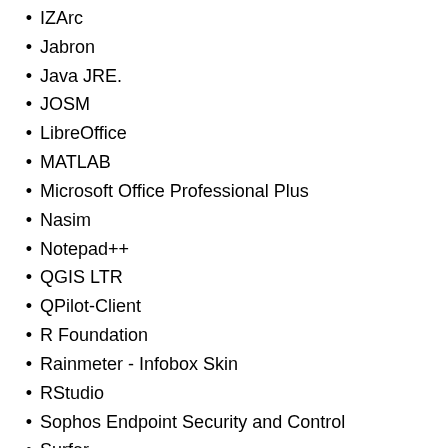IZArc
Jabron
Java JRE.
JOSM
LibreOffice
MATLAB
Microsoft Office Professional Plus
Nasim
Notepad++
QGIS LTR
QPilot-Client
R Foundation
Rainmeter - Infobox Skin
RStudio
Sophos Endpoint Security and Control
Surfer
TeX Live
TeXnicCenter
TeXstudio